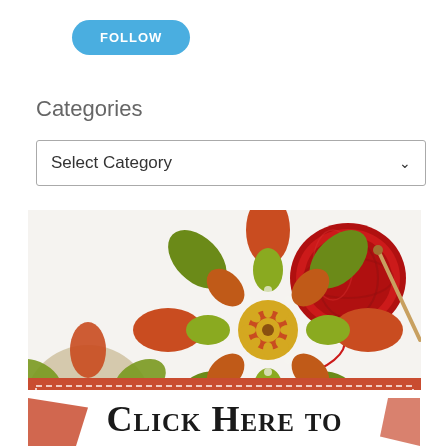FOLLOW
Categories
Select Category
[Figure (photo): Crochet mandala granny squares in red, orange, and green yarn with a ball of red yarn and a crochet hook on a white background]
Click Here to